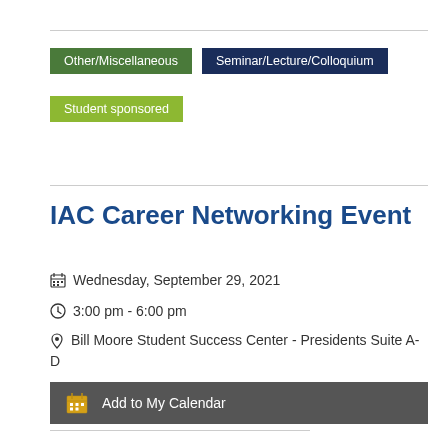Other/Miscellaneous
Seminar/Lecture/Colloquium
Student sponsored
IAC Career Networking Event
Wednesday, September 29, 2021
3:00 pm - 6:00 pm
Bill Moore Student Success Center - Presidents Suite A-D
Add to My Calendar
Career/Professional development